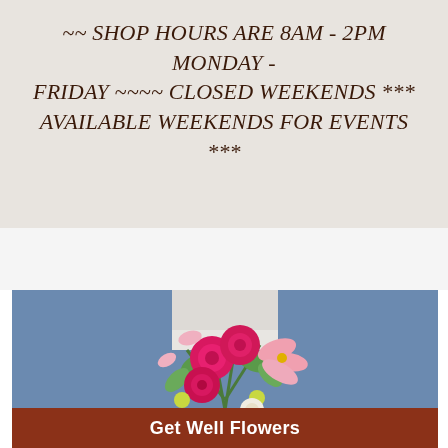~~ SHOP HOURS ARE 8AM - 2PM MONDAY - FRIDAY ~~~~ CLOSED WEEKENDS *** AVAILABLE WEEKENDS FOR EVENTS ***
[Figure (photo): Person holding a bouquet of flowers including pink roses, pink lilies, and green accent flowers in a pink vase, photographed from the front against a white background. Person wearing jeans.]
Get Well Flowers